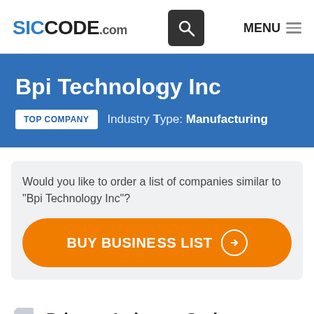SICCODE.com — MENU
Bpi Technology Inc
TOP COMPANY   Industry Type: Manufacturing
Would you like to order a list of companies similar to "Bpi Technology Inc"?
BUY BUSINESS LIST
Primary Industry Codes